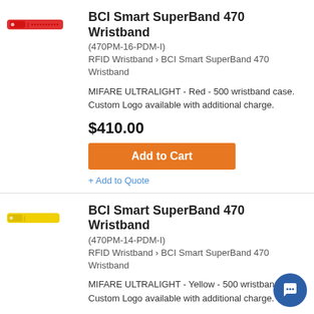[Figure (photo): Red RFID wristband (BCI Smart SuperBand 470)]
BCI Smart SuperBand 470 Wristband
(470PM-16-PDM-I)
RFID Wristband › BCI Smart SuperBand 470 Wristband
MIFARE ULTRALIGHT - Red - 500 wristband case. Custom Logo available with additional charge.
$410.00
Add to Cart
+ Add to Quote
[Figure (photo): Yellow RFID wristband (BCI Smart SuperBand 470)]
BCI Smart SuperBand 470 Wristband
(470PM-14-PDM-I)
RFID Wristband › BCI Smart SuperBand 470 Wristband
MIFARE ULTRALIGHT - Yellow - 500 wristband case. Custom Logo available with additional charge.